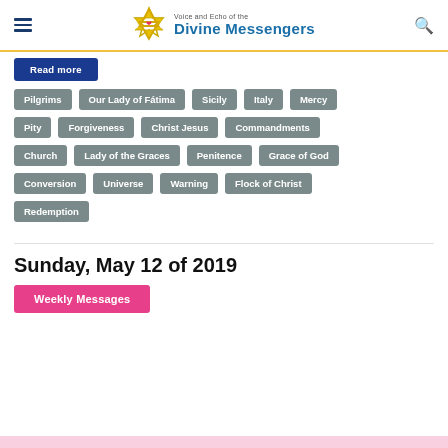Voice and Echo of the Divine Messengers
Read more
Pilgrims
Our Lady of Fátima
Sicily
Italy
Mercy
Pity
Forgiveness
Christ Jesus
Commandments
Church
Lady of the Graces
Penitence
Grace of God
Conversion
Universe
Warning
Flock of Christ
Redemption
Sunday, May 12 of 2019
Weekly Messages